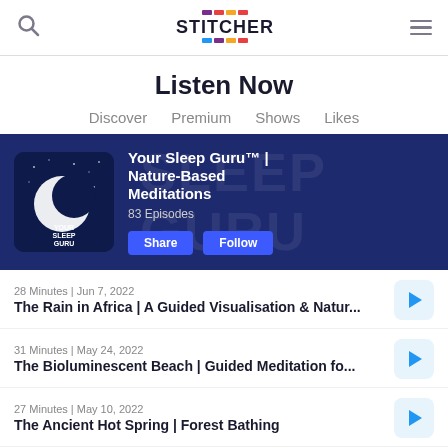[Figure (logo): Stitcher app logo with colorful bars and wordmark]
Listen Now
Discover
Premium
Shows
Likes
[Figure (infographic): Your Sleep Guru™ | Nature-Based Meditations podcast banner with album art showing moon on dark background. 83 Episodes. Share and Follow buttons.]
28 Minutes | Jun 7, 2022
The Rain in Africa | A Guided Visualisation & Natur...
31 Minutes | May 24, 2022
The Bioluminescent Beach | Guided Meditation fo...
27 Minutes | May 10, 2022
The Ancient Hot Spring | Forest Bathing
26 Minutes | Apr 26, 2022